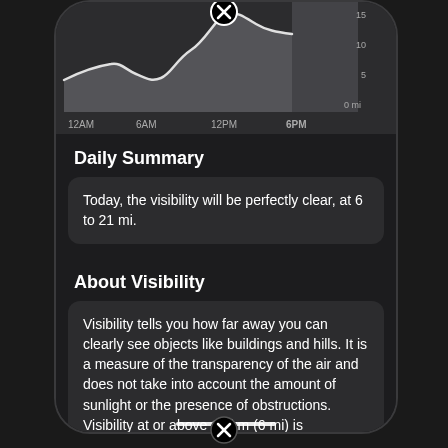[Figure (continuous-plot): Area/line chart showing visibility over 24 hours (12AM to 6PM+). Y-axis: 0 mi to 15. X-axis labels: 12AM, 6AM, 12PM, 6PM. A white/gray curve rises and dips, with a right-side shaded region starting at 6PM. A close (X) button appears at the top center.]
Daily Summary
Today, the visibility will be perfectly clear, at 6 to 21 mi.
About Visibility
Visibility tells you how far away you can clearly see objects like buildings and hills. It is a measure of the transparency of the air and does not take into account the amount of sunlight or the presence of obstructions. Visibility at or above 10 km (6 mi) is considered clear.